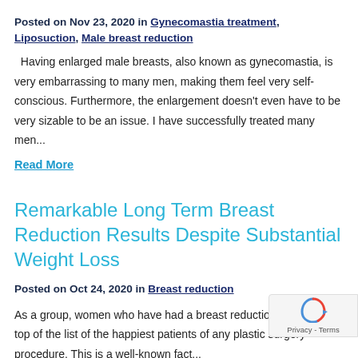Posted on Nov 23, 2020 in Gynecomastia treatment, Liposuction, Male breast reduction
Having enlarged male breasts, also known as gynecomastia, is very embarrassing to many men, making them feel very self-conscious. Furthermore, the enlargement doesn't even have to be very sizable to be an issue. I have successfully treated many men...
Read More
Remarkable Long Term Breast Reduction Results Despite Substantial Weight Loss
Posted on Oct 24, 2020 in Breast reduction
As a group, women who have had a breast reduction are at the top of the list of the happiest patients of any plastic surgery procedure. This is a well-known fact...